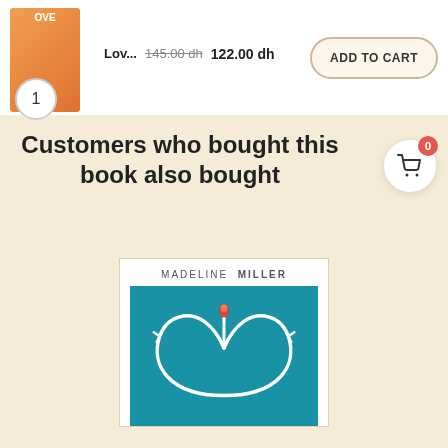[Figure (screenshot): E-commerce product bar showing book thumbnail, crossed-out price 145.00 dh, sale price 122.00 dh, and ADD TO CART button with quantity badge of 1]
Customers who bought this book also bought
[Figure (photo): Book cover of a Madeline Miller novel, teal/blue background with white curving lines forming a heart shape with a small red flame on top]